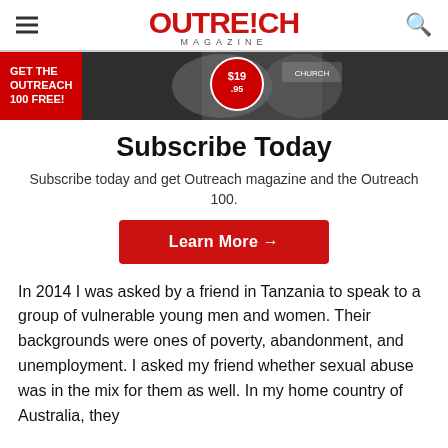Outreach Magazine
[Figure (photo): Outreach Magazine banner advertisement showing people and $19.95 price badge with red background. Text: GET THE OUTREACH 100 FREE!]
Subscribe Today
Subscribe today and get Outreach magazine and the Outreach 100.
Learn More →
In 2014 I was asked by a friend in Tanzania to speak to a group of vulnerable young men and women. Their backgrounds were ones of poverty, abandonment, and unemployment. I asked my friend whether sexual abuse was in the mix for them as well. In my home country of Australia, they